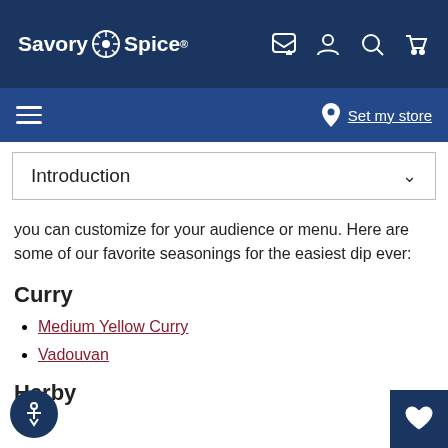Savory Spice
you can customize for your audience or menu. Here are some of our favorite seasonings for the easiest dip ever:
Curry
Medium Yellow Curry
Vadouvan
Herby